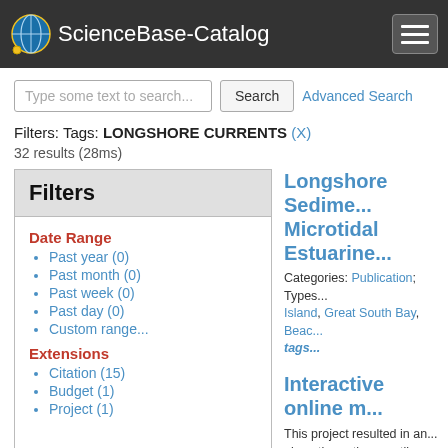ScienceBase-Catalog
Type some text to search...  Search  Advanced Search
Filters: Tags: LONGSHORE CURRENTS (X)
32 results (28ms)
Filters
Date Range
Past year (0)
Past month (0)
Past week (0)
Past day (0)
Custom range...
Extensions
Citation (15)
Budget (1)
Project (1)
Longshore Sedime... Microtidal Estuarine...
Categories: Publication; Types... Island, Great South Bay, Beach... tags...
Interactive online m...
This project resulted in an... along the entire coastline... Conservation Cooperative... baseline information on th... changes over the past 41... coastline and to coastal fe...